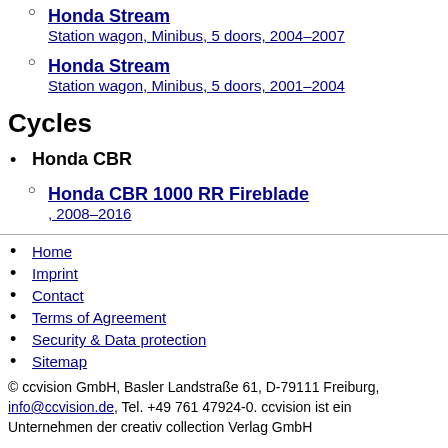Honda Stream — Station wagon, Minibus, 5 doors, 2004–2007
Honda Stream — Station wagon, Minibus, 5 doors, 2001–2004
Cycles
Honda CBR
Honda CBR 1000 RR Fireblade , 2008–2016
Home
Imprint
Contact
Terms of Agreement
Security & Data protection
Sitemap
© ccvision GmbH, Basler Landstraße 61, D-79111 Freiburg, info@ccvision.de, Tel. +49 761 47924-0. ccvision ist ein Unternehmen der creativ collection Verlag GmbH